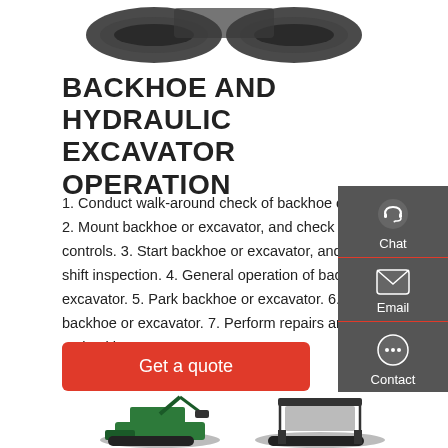[Figure (photo): Partial view of a mini excavator (tracks visible) at the top of the page]
BACKHOE AND HYDRAULIC EXCAVATOR OPERATION
1. Conduct walk-around check of backhoe or excavator. 2. Mount backhoe or excavator, and check cab and controls. 3. Start backhoe or excavator, and complete pre-shift inspection. 4. General operation of backhoe or excavator. 5. Park backhoe or excavator. 6. Refuel backhoe or excavator. 7. Perform repairs and maintenance on backhoe or excavator.
[Figure (infographic): Sidebar panel with Chat, Email, and Contact icons on dark grey background]
Get a quote
[Figure (photo): Partial view of two mini excavators at the bottom of the page]